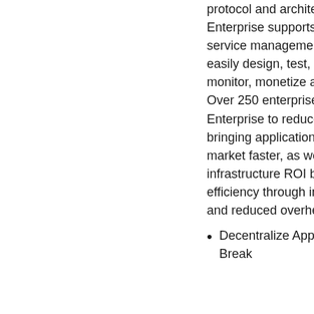protocol and architecture. Kong Konnect Enterprise supports the full lifecycle of service management, enabling users to easily design, test, secure, deploy, monitor, monetize and version their APIs. Over 250 enterprises trust Kong Enterprise to reduce time to market by bringing applications and services to market faster, as well as increase infrastructure ROI by maximizing resource efficiency through improved automation and reduced overhead.
Decentralize Applications and Services - Break